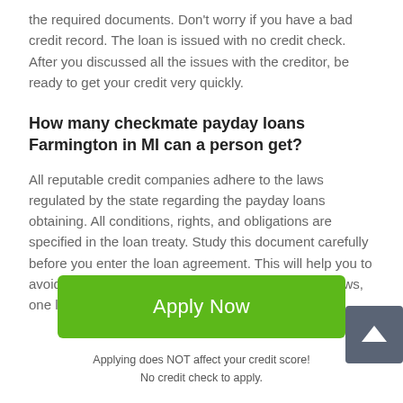the required documents. Don't worry if you have a bad credit record. The loan is issued with no credit check. After you discussed all the issues with the creditor, be ready to get your credit very quickly.
How many checkmate payday loans Farmington in MI can a person get?
All reputable credit companies adhere to the laws regulated by the state regarding the payday loans obtaining. All conditions, rights, and obligations are specified in the loan treaty. Study this document carefully before you enter the loan agreement. This will help you to avoid unpleasant situations. According to the state laws, one loan can be
[Figure (other): Scroll-to-top button: dark grey square with white upward arrow]
Apply Now
Applying does NOT affect your credit score!
No credit check to apply.